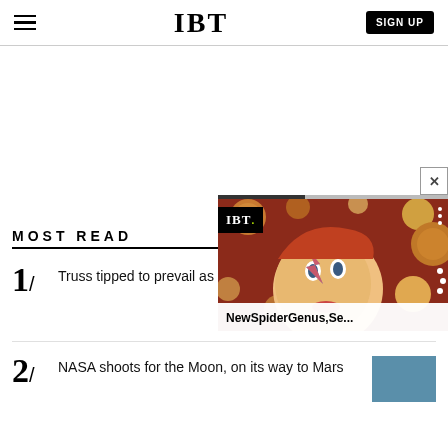IBT
MOST READ
1/ Truss tipped to prevail as UK lea… end
[Figure (photo): Popup overlay showing IBT logo and David Bowie artwork with planets, titled 'NewSpiderGenus,Se...']
2/ NASA shoots for the Moon, on its way to Mars